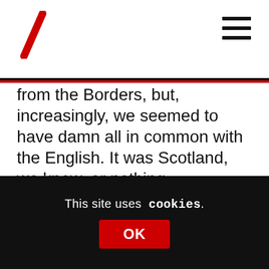[Logo: V slash] [Hamburger menu]
from the Borders, but, increasingly, we seemed to have damn all in common with the English. It was Scotland, we knew, or nothing.
In other words, we might have pretended otherwise but we did care. That was why we writhed in embarrassment at Take the High Road or Isla St Clair on The Generation Game. But also why went into the video box on Points of View to complain about Blue
This site uses cookies. OK